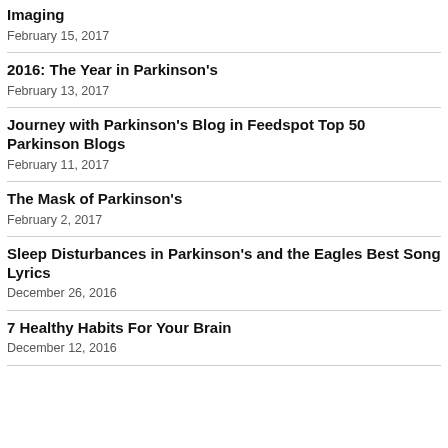Imaging
February 15, 2017
2016: The Year in Parkinson's
February 13, 2017
Journey with Parkinson's Blog in Feedspot Top 50 Parkinson Blogs
February 11, 2017
The Mask of Parkinson's
February 2, 2017
Sleep Disturbances in Parkinson's and the Eagles Best Song Lyrics
December 26, 2016
7 Healthy Habits For Your Brain
December 12, 2016